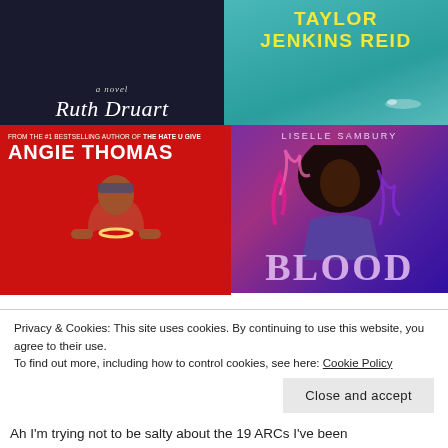[Figure (photo): Book cover: dark background with script text 'a novel' and 'Ruth Druart' in white italic font, partially cut off title at top]
[Figure (photo): Book cover: teal/turquoise background with bold yellow text 'TAYLOR JENKINS REID', small swimmer figure near bottom]
[Figure (photo): Book cover: red background, text 'FROM THE #1 BESTSELLING AUTHOR OF THE HATE U GIVE', bold white 'ANGIE THOMAS', illustrated young Black man in red shirt looking up]
[Figure (photo): Book cover: purple/pink background, 'LISELLE SAMBURY' at top, illustrated young Black woman with large afro, large text 'BLOOD' at bottom]
Privacy & Cookies: This site uses cookies. By continuing to use this website, you agree to their use.
To find out more, including how to control cookies, see here: Cookie Policy
Close and accept
Ah I'm trying not to be salty about the 19 ARCs I've been